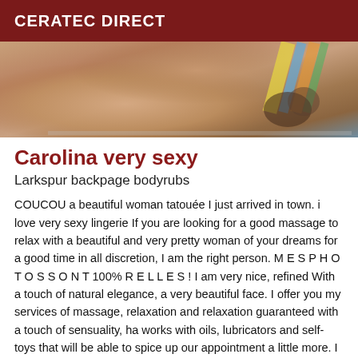CERATEC DIRECT
[Figure (photo): Close-up photo of a person, cropped, warm toned skin with colorful background elements visible]
Carolina very sexy
Larkspur backpage bodyrubs
COUCOU a beautiful woman tatouée I just arrived in town. i love very sexy lingerie If you are looking for a good massage to relax with a beautiful and very pretty woman of your dreams for a good time in all discretion, I am the right person. M E S P H O T O S S O N T 100% R E L L E S ! I am very nice, refined With a touch of natural elegance, a very beautiful face. I offer you my services of massage, relaxation and relaxation guaranteed with a touch of sensuality, ha works with oils, lubricators and self-toys that will be able to spice up our appointment a little more. I will be delighted to give you more information about my services, which I do.